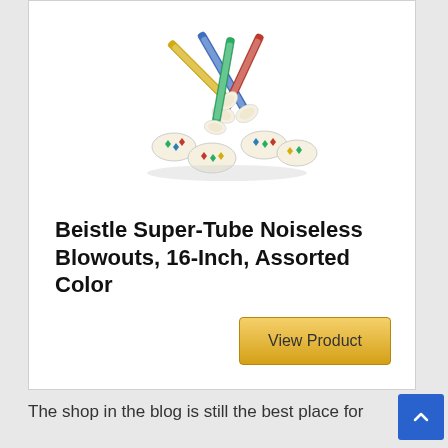[Figure (photo): A pile of colorful party blowouts (Super-Tube Noiseless Blowouts) in assorted colors — red, blue, green, yellow — displayed on a white background.]
Beistle Super-Tube Noiseless Blowouts, 16-Inch, Assorted Color
View Product
The shop in the blog is still the best place for